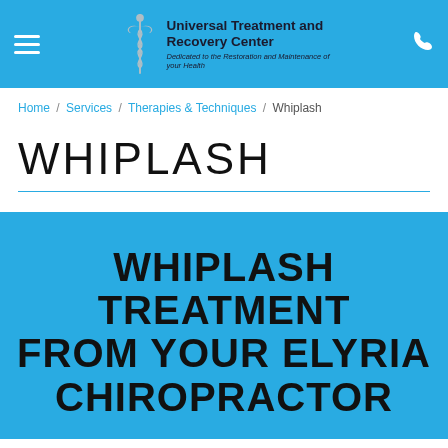Universal Treatment and Recovery Center — Dedicated to the Restoration and Maintenance of your Health
Home / Services / Therapies & Techniques / Whiplash
WHIPLASH
WHIPLASH TREATMENT FROM YOUR ELYRIA CHIROPRACTOR